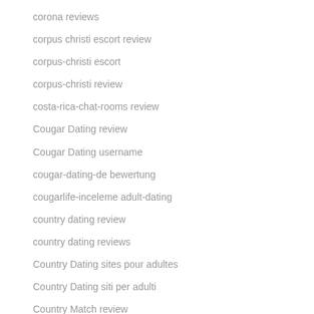corona reviews
corpus christi escort review
corpus-christi escort
corpus-christi review
costa-rica-chat-rooms review
Cougar Dating review
Cougar Dating username
cougar-dating-de bewertung
cougarlife-inceleme adult-dating
country dating review
country dating reviews
Country Dating sites pour adultes
Country Dating siti per adulti
Country Match review
country match sign in